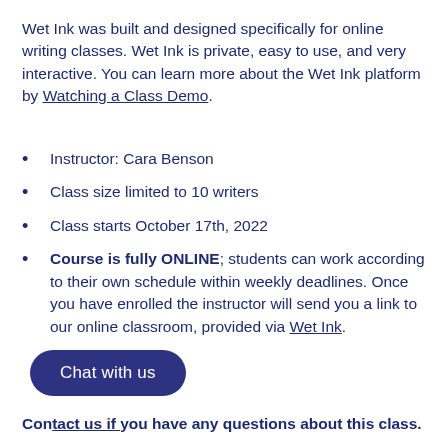Wet Ink was built and designed specifically for online writing classes. Wet Ink is private, easy to use, and very interactive. You can learn more about the Wet Ink platform by Watching a Class Demo.
Instructor: Cara Benson
Class size limited to 10 writers
Class starts October 17th, 2022
Course is fully ONLINE; students can work according to their own schedule within weekly deadlines. Once you have enrolled the instructor will send you a link to our online classroom, provided via Wet Ink.
Contact us if you have any questions about this class.